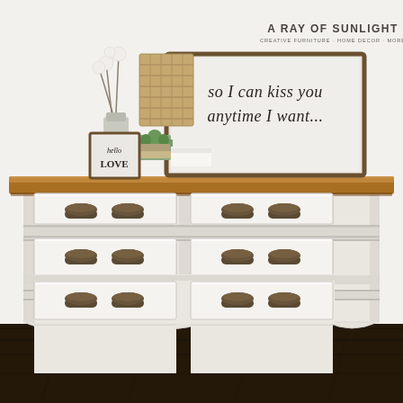[Figure (photo): A white painted wooden dresser with 8 drawers arranged in two columns (4 rows), each drawer having a dark bronze cup pull hardware. The dresser has a warm brown wood top. On top of the dresser sits: a framed sign with cursive text reading 'so I can kiss you anytime I want...', a small framed sign reading 'hello LOVE', a vase with cotton stems, a small potted plant, some books, and a wicker/rattan basket. The dresser is styled in a farmhouse aesthetic, placed against a white wall on dark hardwood floors. In the upper right corner is a watermark logo reading 'A RAY OF SUNLIGHT' with subtitle text 'CREATIVE FURNITURE · HOME DECOR · MORE'.]